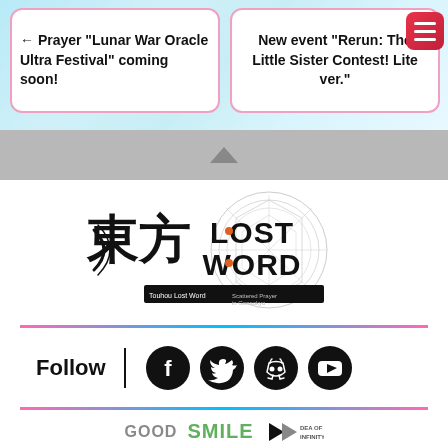← Prayer "Lunar War Oracle Ultra Festival" coming soon!
New event "Rerun: The Little Sister Contest! Lite ver."
[Figure (logo): Touhou Lost Word game logo with Japanese characters and magic circle watermark. Text reads: Touhou Lost Word - Scattered Prayer in Gensokyo]
Follow
[Figure (infographic): Social media follow section with Facebook, Twitter, Discord, and YouTube icons]
[Figure (logo): Good Smile Company and DEA OF INFINITY partner logos at bottom]